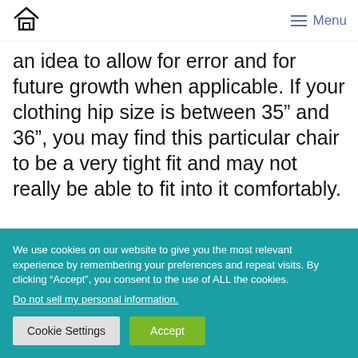Home | Menu
an idea to allow for error and for future growth when applicable. If your clothing hip size is between 35” and 36”, you may find this particular chair to be a very tight fit and may not really be able to fit into it comfortably.
We use cookies on our website to give you the most relevant experience by remembering your preferences and repeat visits. By clicking “Accept”, you consent to the use of ALL the cookies.
Do not sell my personal information.
Cookie Settings | Accept